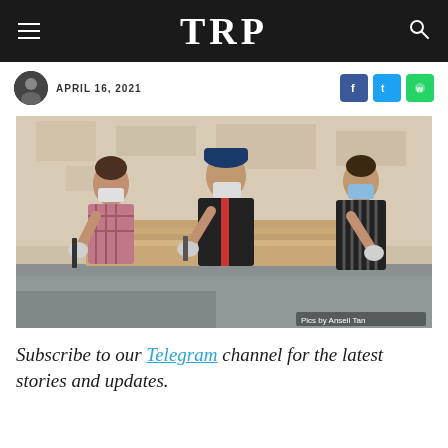TRP
APRIL 16, 2021
[Figure (photo): Three people wearing masks and gloves working at a table, handling stacked cardboard or paper materials. Photo credit: Pics by Ansell Tan.]
Subscribe to our Telegram channel for the latest stories and updates.